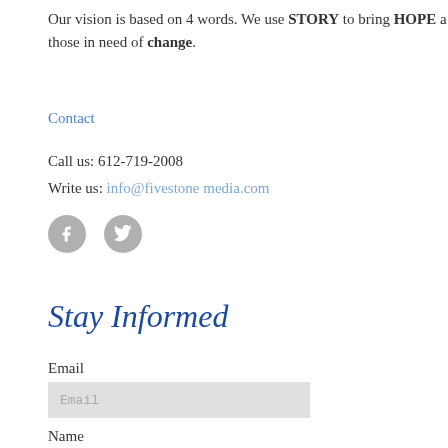Our vision is based on 4 words. We use STORY to bring HOPE and those in need of change.
Contact
Call us: 612-719-2008
Write us: info@fivestone media.com
[Figure (illustration): Two circular social media icons (Facebook and Twitter) in grey]
Stay Informed
Email
Email (input placeholder)
Name